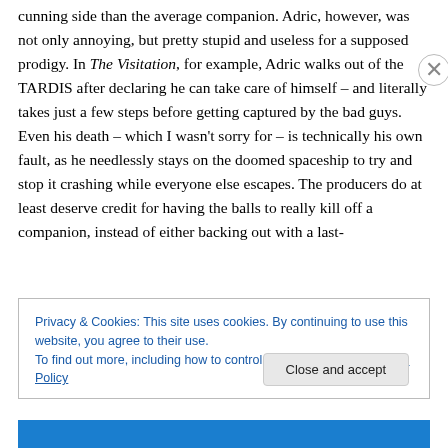cunning side than the average companion. Adric, however, was not only annoying, but pretty stupid and useless for a supposed prodigy. In The Visitation, for example, Adric walks out of the TARDIS after declaring he can take care of himself – and literally takes just a few steps before getting captured by the bad guys. Even his death – which I wasn't sorry for – is technically his own fault, as he needlessly stays on the doomed spaceship to try and stop it crashing while everyone else escapes. The producers do at least deserve credit for having the balls to really kill off a companion, instead of either backing out with a last-
Privacy & Cookies: This site uses cookies. By continuing to use this website, you agree to their use.
To find out more, including how to control cookies, see here: Cookie Policy
Close and accept